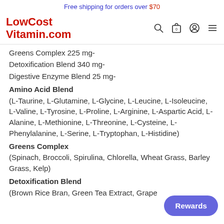Free shipping for orders over $70
[Figure (logo): LowCostVitamin.com logo in red with navigation icons (search, cart, user, menu)]
Greens Complex 225 mg-
Detoxification Blend 340 mg-
Digestive Enzyme Blend 25 mg-
Amino Acid Blend
(L-Taurine, L-Glutamine, L-Glycine, L-Leucine, L-Isoleucine, L-Valine, L-Tyrosine, L-Proline, L-Arginine, L-Aspartic Acid, L-Alanine, L-Methionine, L-Threonine, L-Cysteine, L-Phenylalanine, L-Serine, L-Tryptophan, L-Histidine)
Greens Complex
(Spinach, Broccoli, Spirulina, Chlorella, Wheat Grass, Barley Grass, Kelp)
Detoxification Blend
(Brown Rice Bran, Green Tea Extract, Grape